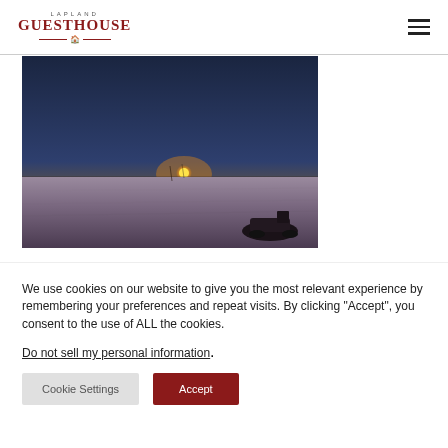LAPLAND GUESTHOUSE
[Figure (photo): Sunset or sunrise over a snowy flat landscape in Lapland, with a snowmobile visible in the foreground right, and a warm glowing sun on the horizon under a dark blue sky.]
We use cookies on our website to give you the most relevant experience by remembering your preferences and repeat visits. By clicking "Accept", you consent to the use of ALL the cookies.
Do not sell my personal information.
Cookie Settings | Accept